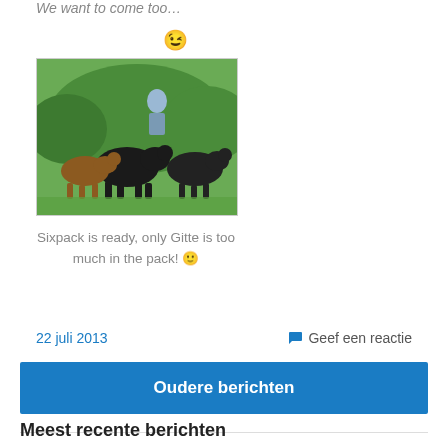We want to come too...
😉
[Figure (photo): Several large dogs (including black Newfoundland-type dogs and a brown dog) standing on grass with a person visible in the background among green bushes.]
Sixpack is ready, only Gitte is too much in the pack! 🙂
22 juli 2013
💬 Geef een reactie
Oudere berichten
Meest recente berichten